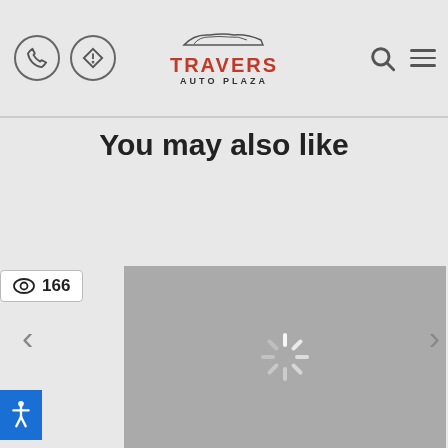[Figure (screenshot): Travers Auto Plaza website header with phone icon, navigation icon, logo with car silhouette, search icon, and hamburger menu]
You may also like
[Figure (other): View count badge showing eye icon and 166 views]
[Figure (other): Loading spinner (asterisk/snowflake shape) on gray background image placeholder]
[Figure (other): Blue accessibility button with person icon on left side]
[Figure (other): Left navigation arrow chevron]
[Figure (other): Right navigation arrow chevron]